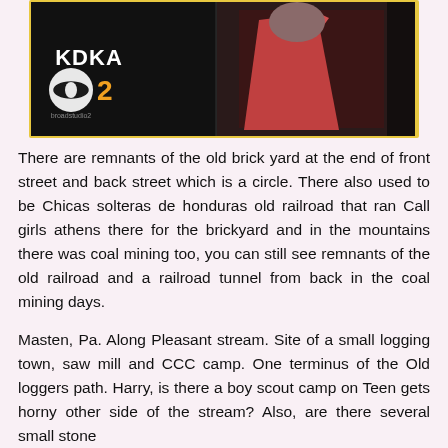[Figure (screenshot): A TV screenshot showing a CBS/KDKA news broadcast. Left side shows dark background with KDKA CBS 2 logo and text. Right side shows a partially visible figure in pink/red clothing.]
There are remnants of the old brick yard at the end of front street and back street which is a circle. There also used to be Chicas solteras de honduras old railroad that ran Call girls athens there for the brickyard and in the mountains there was coal mining too, you can still see remnants of the old railroad and a railroad tunnel from back in the coal mining days.
Masten, Pa. Along Pleasant stream. Site of a small logging town, saw mill and CCC camp. One terminus of the Old loggers path. Harry, is there a boy scout camp on Teen gets horny other side of the stream? Also, are there several small stone